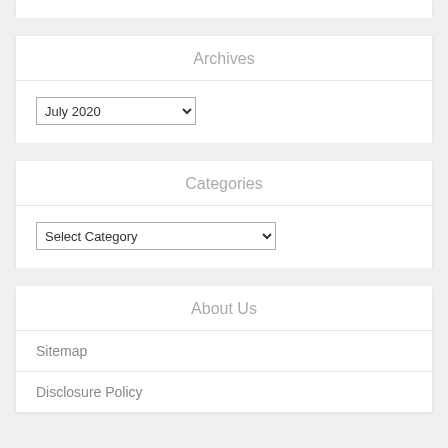Archives
July 2020
Categories
Select Category
About Us
Sitemap
Disclosure Policy